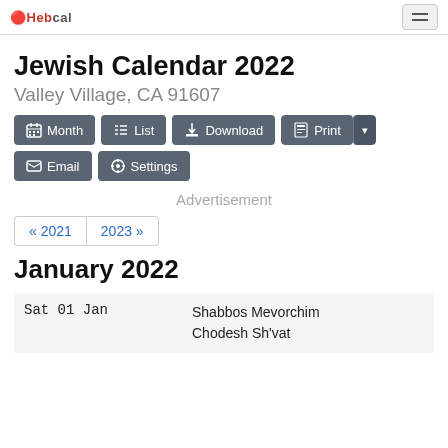Hebcal
Jewish Calendar 2022
Valley Village, CA 91607
Month  List  Download  Print  Email  Settings
Advertisement
« 2021   2023 »
January 2022
| Date | Event |
| --- | --- |
| Sat 01 Jan | Shabbos Mevorchim
Chodesh Sh'vat |